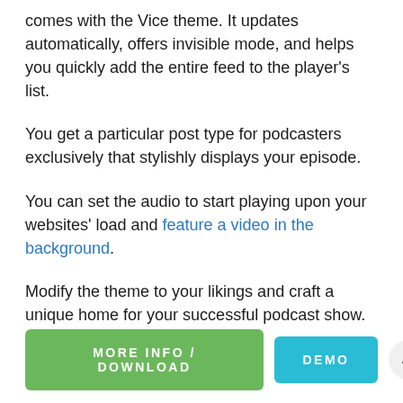comes with the Vice theme. It updates automatically, offers invisible mode, and helps you quickly add the entire feed to the player's list.
You get a particular post type for podcasters exclusively that stylishly displays your episode.
You can set the audio to start playing upon your websites' load and feature a video in the background.
Modify the theme to your likings and craft a unique home for your successful podcast show.
MORE INFO / DOWNLOAD | DEMO